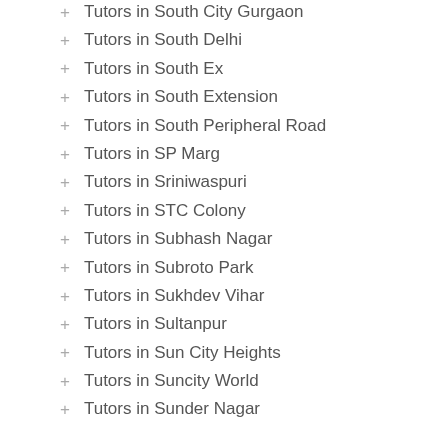Tutors in South City Gurgaon
Tutors in South Delhi
Tutors in South Ex
Tutors in South Extension
Tutors in South Peripheral Road
Tutors in SP Marg
Tutors in Sriniwaspuri
Tutors in STC Colony
Tutors in Subhash Nagar
Tutors in Subroto Park
Tutors in Sukhdev Vihar
Tutors in Sultanpur
Tutors in Sun City Heights
Tutors in Suncity World
Tutors in Sunder Nagar